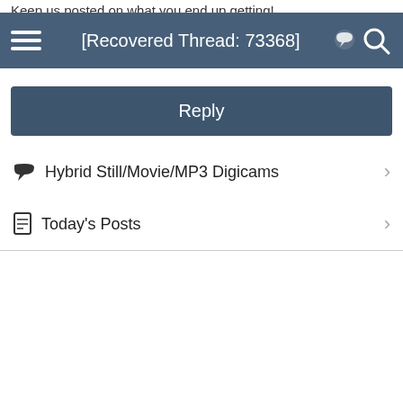Keep us posted on what you end up getting!
[Recovered Thread: 73368]
Reply
Hybrid Still/Movie/MP3 Digicams
Today's Posts